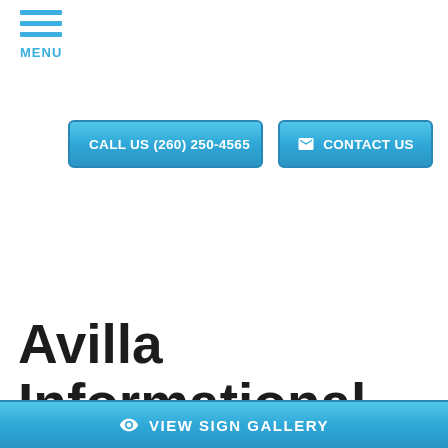MENU
CALL US (260) 250-4565
CONTACT US
Avilla Informational Signs
VIEW SIGN GALLERY